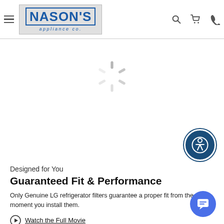Nason's Appliance Co. — navigation header with logo, search, cart, phone icons
[Figure (other): Loading spinner (spinning wheel / activity indicator) in gray]
[Figure (other): Accessibility button — dark blue circle with white wheelchair user icon]
Designed for You
Guaranteed Fit & Performance
Only Genuine LG refrigerator filters guarantee a proper fit from the moment you install them.
Watch the Full Movie
[Figure (other): Blue chat bubble button in bottom-right corner]